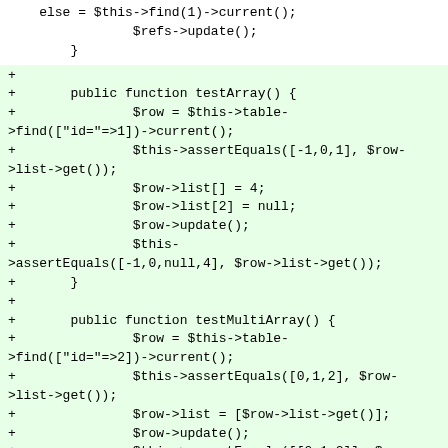else = $this->find(1)->current();
                $refs->update();
        }
+
+       public function testArray() {
+               $row = $this->table->find(["id="=>1])->current();
+               $this->assertEquals([-1,0,1], $row->list->get());
+               $row->list[] = 4;
+               $row->list[2] = null;
+               $row->update();
+               $this->assertEquals([-1,0,null,4], $row->list->get());
+       }
+
+       public function testMultiArray() {
+               $row = $this->table->find(["id="=>2])->current();
+               $this->assertEquals([0,1,2], $row->list->get());
+               $row->list = [$row->list->get()];
+               $row->update();
+               $this->assertEquals([[0,1,2]], $row->list->get());
+               $this->